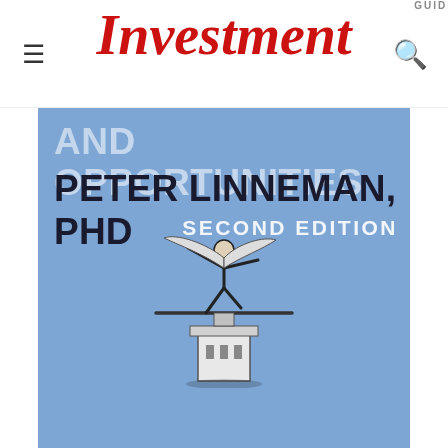Investment GUIDE
[Figure (photo): Book cover of 'Real Estate Finance and Investments: Risks and Opportunities' by Peter Linneman, PHD, Second Edition. Light blue cover with author name and a graphic illustration of a person balancing on top of a building.]
AND OPPORTUNITIES PETER LINNEMAN, PHD SECOND EDITION